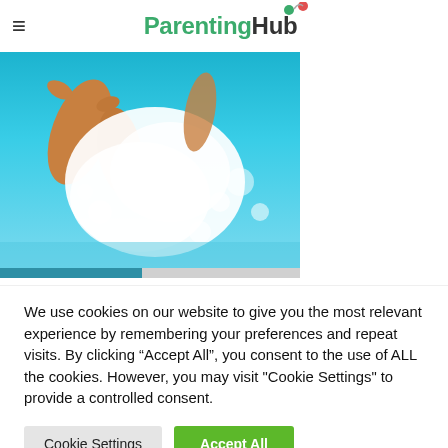ParentingHub
[Figure (photo): Underwater view of a person jumping or diving into a swimming pool, showing legs and feet kicking up a large splash of white bubbles against a bright blue water background]
We use cookies on our website to give you the most relevant experience by remembering your preferences and repeat visits. By clicking “Accept All”, you consent to the use of ALL the cookies. However, you may visit "Cookie Settings" to provide a controlled consent.
Cookie Settings
Accept All